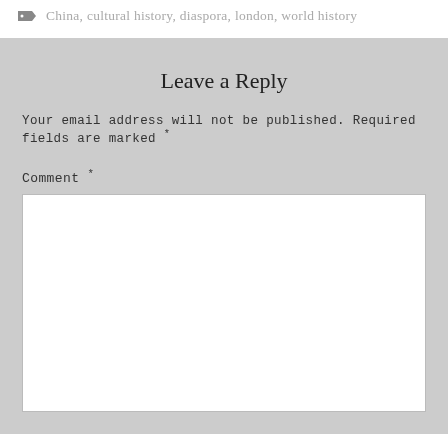China, cultural history, diaspora, london, world history
Leave a Reply
Your email address will not be published. Required fields are marked *
Comment *